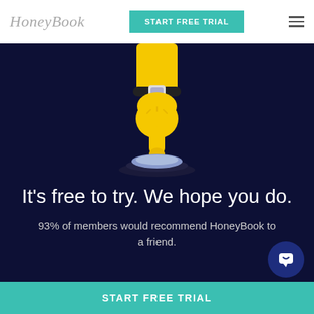HoneyBook | START FREE TRIAL
[Figure (illustration): Yellow cartoon hand pointing downward pressing a blue button on a dark navy background]
It's free to try. We hope you do.
93% of members would recommend HoneyBook to a friend.
START FREE TRIAL